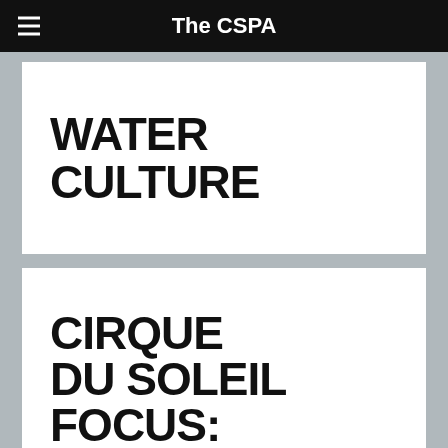The CSPA
WATER CULTURE
CIRQUE DU SOLEIL FOCUS: WATER &